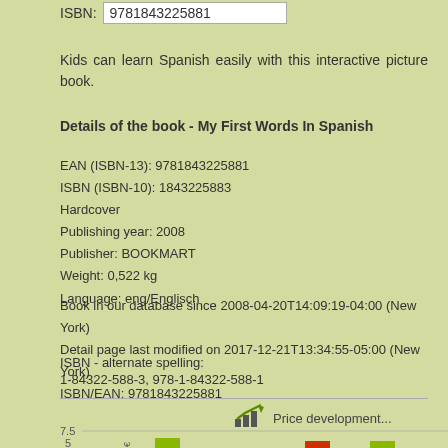ISBN: 9781843225881
Kids can learn Spanish easily with this interactive picture book.
Details of the book - My First Words In Spanish
EAN (ISBN-13): 9781843225881
ISBN (ISBN-10): 1843225883
Hardcover
Publishing year: 2008
Publisher: BOOKMART
Weight: 0,522 kg
Language: eng/Englisch
Book in our database since 2008-04-20T14:09:19-04:00 (New York)
Detail page last modified on 2017-12-21T13:34:55-05:00 (New York)
ISBN/EAN: 9781843225881
ISBN - alternate spelling:
1-84322-588-3, 978-1-84322-588-1
[Figure (bar-chart): Price development chart showing price in euros over time, with bars at approximately 5 and 7.5 levels]